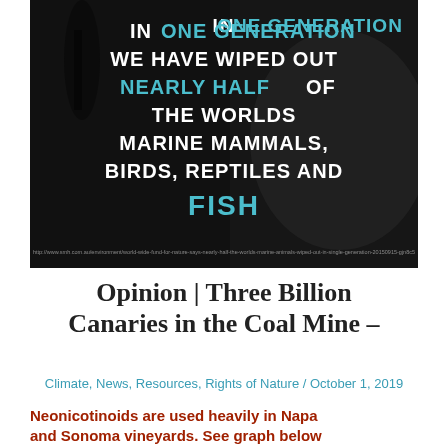[Figure (photo): Dark/black background image with large white and teal text reading: IN ONE GENERATION WE HAVE WIPED OUT NEARLY HALF OF THE WORLDS MARINE MAMMALS, BIRDS, REPTILES AND FISH. A URL citation is visible at the bottom of the image in small gray text referencing smh.com.au.]
Opinion | Three Billion Canaries in the Coal Mine –
Climate, News, Resources, Rights of Nature / October 1, 2019
Neonicotinoids are used heavily in Napa and Sonoma vineyards. See graph below